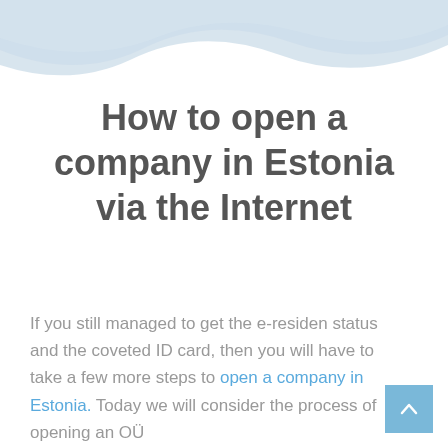[Figure (illustration): Decorative wave/ribbon graphic in light blue-grey at the top of the page]
How to open a company in Estonia via the Internet
If you still managed to get the e-residen status and the coveted ID card, then you will have to take a few more steps to open a company in Estonia. Today we will consider the process of opening an OÜ